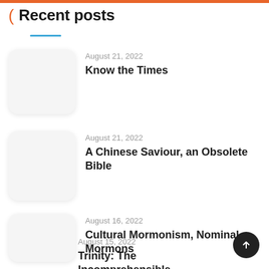Recent posts
August 21, 2022
Know the Times
August 21, 2022
A Chinese Saviour, an Obsolete Bible
August 16, 2022
Cultural Mormonism, Nominal Mormons
August 15, 2022
Trinity: The Incomprehensible